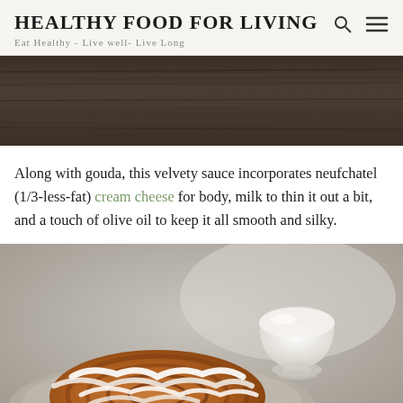HEALTHY FOOD FOR LIVING
Eat Healthy - Live well- Live Long
[Figure (photo): Dark wood background / table surface hero image banner]
Along with gouda, this velvety sauce incorporates neufchatel (1/3-less-fat) cream cheese for body, milk to thin it out a bit, and a touch of olive oil to keep it all smooth and silky.
[Figure (photo): Close-up photo of a cinnamon roll with white cream cheese icing drizzled on top, on a plate, with a small white cup in the background]